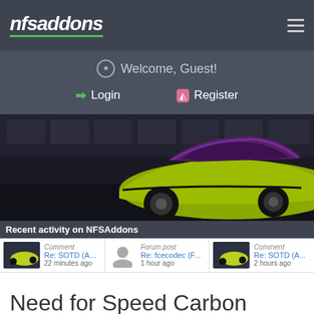nfsaddons
Welcome, Guest!
Login
Register
[Figure (photo): Hero image showing a yellow/green sports car (Porsche-style) with a dark purple/blue roof in a dark garage setting. Need for Speed Carbon related visual.]
Recent activity on NFSAddons
Comment
Re: SOTD (A...
22 minutes ago
Forum post
Re: fcecodec (F...
1 hour ago
Comment
Re: SOTD (A...
2 hours ago
Need for Speed Carbon Showroom